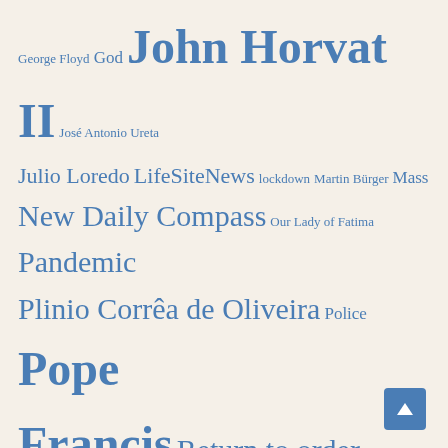George Floyd God John Horvat II José Antonio Ureta Julio Loredo LifeSiteNews lockdown Martin Bürger Mass New Daily Compass Our Lady of Fatima Pandemic Plinio Corrêa de Oliveira Police Pope Pope Francis Return to order Roberto de Mattei Sacraments Stefano Fontana TFP The American TFP USA Vatican
Recent Posts
DESTROYING GOD'S IMAGES
25 July 2020
Marxist mobs are desecrating images of Jesus, Mary and the saints. A statue of Jesus Christ was decapitated in Good